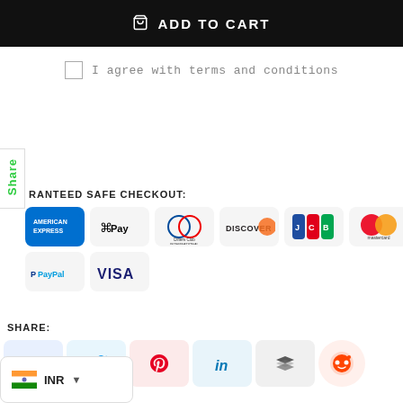ADD TO CART
I agree with terms and conditions
Share
GUARANTEED SAFE CHECKOUT:
[Figure (logo): Payment method logos: American Express, Apple Pay, Diners Club International, Discover, JCB, Mastercard, PayPal, Visa]
SHARE:
[Figure (infographic): Social share buttons: Facebook, Twitter, Pinterest, LinkedIn, Buffer, Reddit]
INR